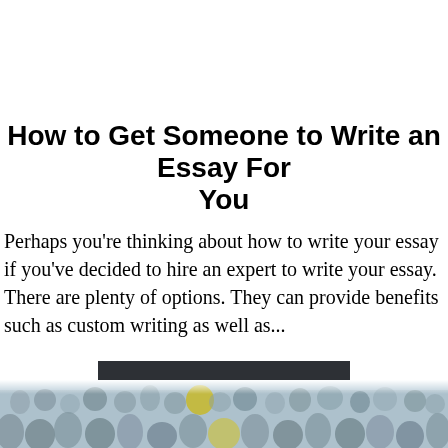How to Get Someone to Write an Essay For You
Perhaps you're thinking about how to write your essay if you've decided to hire an expert to write your essay. There are plenty of options. They can provide benefits such as custom writing as well as...
[Figure (photo): A crowd of people at what appears to be a sports or public event, showing spectators.]